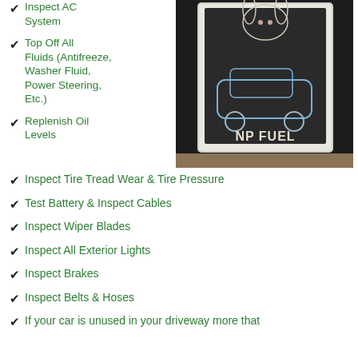✔ Inspect AC System
✔ Top Off All Fluids (Antifreeze, Washer Fluid, Power Steering, Etc.)
[Figure (photo): A-frame chalkboard sign outside showing a cartoon rabbit driving a blue car with 'NP FUEL' written in chalk]
✔ Replenish Oil Levels
✔ Inspect Tire Tread Wear & Tire Pressure
✔ Test Battery & Inspect Cables
✔ Inspect Wiper Blades
✔ Inspect All Exterior Lights
✔ Inspect Brakes
✔ Inspect Belts & Hoses
✔ If your car is unused in your driveway more that